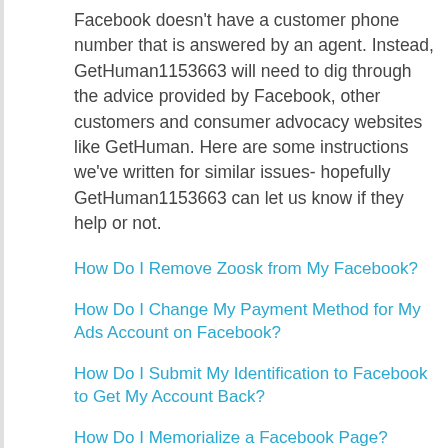Facebook doesn't have a customer phone number that is answered by an agent. Instead, GetHuman1153663 will need to dig through the advice provided by Facebook, other customers and consumer advocacy websites like GetHuman. Here are some instructions we've written for similar issues- hopefully GetHuman1153663 can let us know if they help or not.
How Do I Remove Zoosk from My Facebook?
How Do I Change My Payment Method for My Ads Account on Facebook?
How Do I Submit My Identification to Facebook to Get My Account Back?
How Do I Memorialize a Facebook Page?
How Do I Change My Name on Facebook?